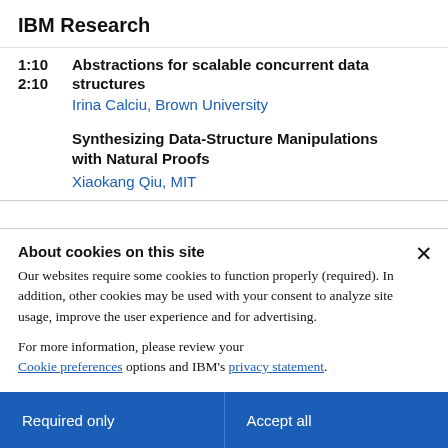IBM Research
1:10   Abstractions for scalable concurrent data structures
2:10   Irina Calciu, Brown University
Synthesizing Data-Structure Manipulations with Natural Proofs
Xiaokang Qiu, MIT
About cookies on this site
Our websites require some cookies to function properly (required). In addition, other cookies may be used with your consent to analyze site usage, improve the user experience and for advertising.
For more information, please review your Cookie preferences options and IBM's privacy statement.
Required only
Accept all